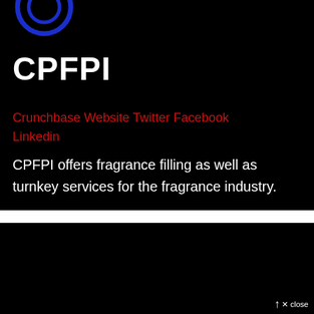[Figure (logo): Blue circular CPFPI logo, partially visible at top left on black background]
CPFPI
Crunchbase Website Twitter Facebook Linkedin
CPFPI offers fragrance filling as well as turnkey services for the fragrance industry.
[Figure (other): Black background section, bottom portion of page]
× close